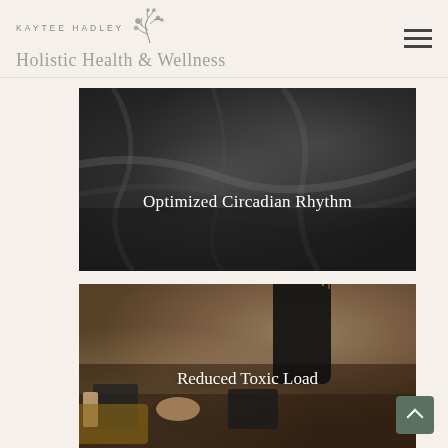KAYTEE HADLEY Holistic Health & Wellness
[Figure (photo): Black and white close-up photo of crumpled fabric/bedsheets with the text 'Optimized Circadian Rhythm' overlaid in white]
[Figure (photo): Color photo of makeup brushes in a black holder along with various cosmetics and beauty products on a table, with the text 'Reduced Toxic Load' overlaid in white]